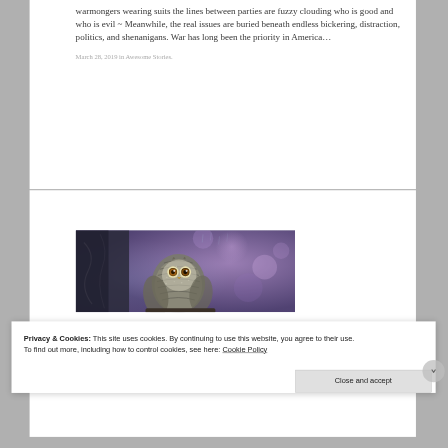warmongers wearing suits the lines between parties are fuzzy clouding who is good and who is evil ~ Meanwhile, the real issues are buried beneath endless bickering, distraction, politics, and shenanigans. War has long been the priority in America…
March 28, 2019 in Awesome Stories.
[Figure (photo): A small spotted owl perched, photographed against a purple/blue bokeh background. The owl has large eyes and speckled feathers.]
Privacy & Cookies: This site uses cookies. By continuing to use this website, you agree to their use.
To find out more, including how to control cookies, see here: Cookie Policy
Close and accept